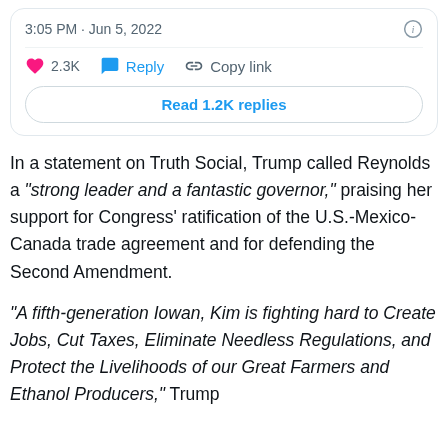[Figure (screenshot): Tweet card showing timestamp '3:05 PM · Jun 5, 2022', an info icon, a heart icon with '2.3K', a Reply button, a Copy link button, and a 'Read 1.2K replies' button.]
In a statement on Truth Social, Trump called Reynolds a "strong leader and a fantastic governor," praising her support for Congress' ratification of the U.S.-Mexico-Canada trade agreement and for defending the Second Amendment.
"A fifth-generation Iowan, Kim is fighting hard to Create Jobs, Cut Taxes, Eliminate Needless Regulations, and Protect the Livelihoods of our Great Farmers and Ethanol Producers," Trump